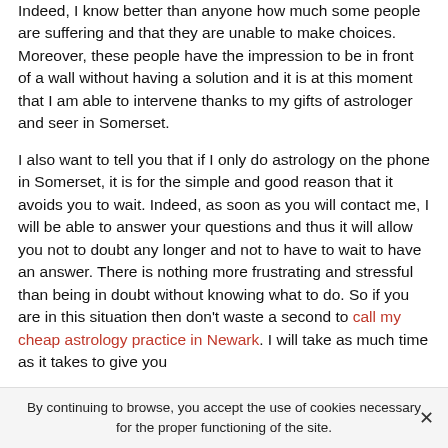Indeed, I know better than anyone how much some people are suffering and that they are unable to make choices. Moreover, these people have the impression to be in front of a wall without having a solution and it is at this moment that I am able to intervene thanks to my gifts of astrologer and seer in Somerset.
I also want to tell you that if I only do astrology on the phone in Somerset, it is for the simple and good reason that it avoids you to wait. Indeed, as soon as you will contact me, I will be able to answer your questions and thus it will allow you not to doubt any longer and not to have to wait to have an answer. There is nothing more frustrating and stressful than being in doubt without knowing what to do. So if you are in this situation then don't waste a second to call my cheap astrology practice in Newark. I will take as much time as it takes to give you
By continuing to browse, you accept the use of cookies necessary for the proper functioning of the site.